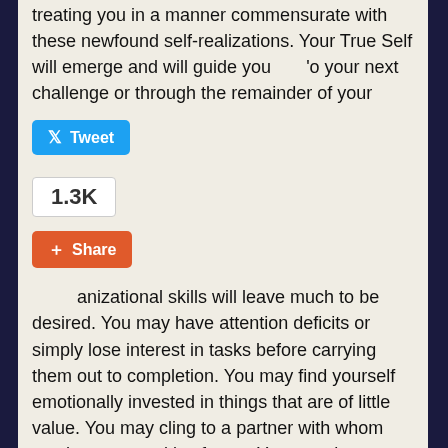treating you in a manner commensurate with these newfound self-realizations. Your True Self will emerge and will guide you to your next challenge or through the remainder of your
[Figure (screenshot): Twitter Tweet button (blue, with bird icon)]
[Figure (screenshot): Share count badge showing 1.3K]
[Figure (screenshot): Google+ Share button (orange/red)]
anizational skills will leave much to be desired. You may have attention deficits or simply lose interest in tasks before carrying them out to completion. You may find yourself emotionally invested in things that are of little value. You may cling to a partner with whom you have no positive future. Your need to idealize things may overshadow your ability to see the reality of situations.
You will learn the value of paying attention to detail and finishing what you start. These will be serious challenges but they will result in exponential personal growth in the long term. You will learn how to organize your life and manage your emotions. You will learn to let go of things that do not serve you. Efficiency in action, thought, and emotion will be achieved. The real challenge, however, will be in the learning. You will not obtain